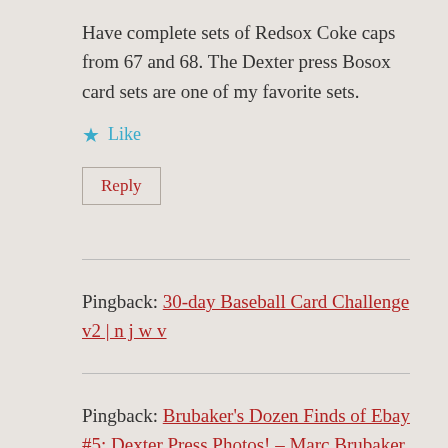Have complete sets of Redsox Coke caps from 67 and 68. The Dexter press Bosox card sets are one of my favorite sets.
★ Like
Reply
Pingback: 30-day Baseball Card Challenge v2 | n j w v
Pingback: Brubaker's Dozen Finds of Ebay #5: Dexter Press Photos! – Marc Brubaker